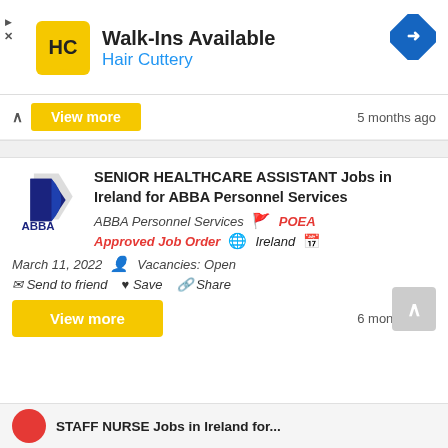[Figure (screenshot): Hair Cuttery advertisement banner with logo, Walk-Ins Available text, and navigation icon]
View more   5 months ago
SENIOR HEALTHCARE ASSISTANT Jobs in Ireland for ABBA Personnel Services
ABBA Personnel Services   POEA   Approved Job Order   Ireland   March 11, 2022   Vacancies: Open
Send to friend   Save   Share
View more   6 months ago
STAFF NURSE Jobs in Ireland for...